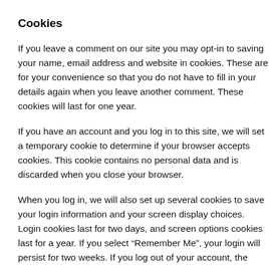Cookies
If you leave a comment on our site you may opt-in to saving your name, email address and website in cookies. These are for your convenience so that you do not have to fill in your details again when you leave another comment. These cookies will last for one year.
If you have an account and you log in to this site, we will set a temporary cookie to determine if your browser accepts cookies. This cookie contains no personal data and is discarded when you close your browser.
When you log in, we will also set up several cookies to save your login information and your screen display choices. Login cookies last for two days, and screen options cookies last for a year. If you select “Remember Me”, your login will persist for two weeks. If you log out of your account, the